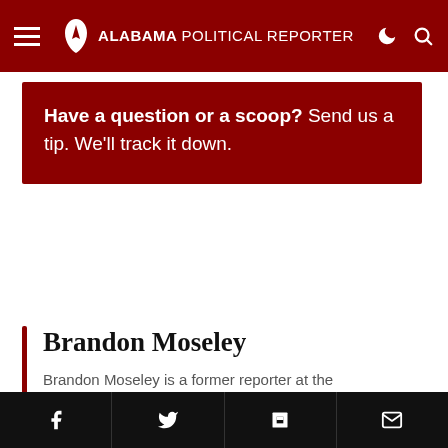Alabama Political Reporter
Have a question or a scoop? Send us a tip. We'll track it down.
Brandon Moseley
Brandon Moseley is a former reporter at the Alabama Political Reporter.
ADVERTISEMENT